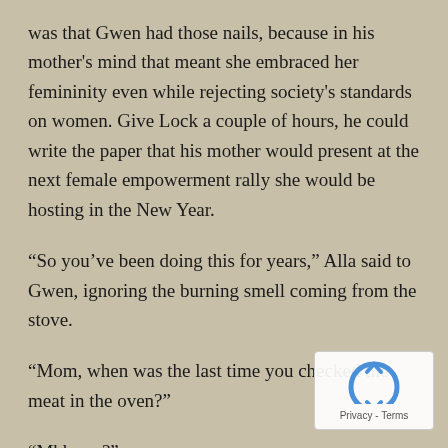was that Gwen had those nails, because in his mother's mind that meant she embraced her femininity even while rejecting society's standards on women. Give Lock a couple of hours, he could write the paper that his mother would present at the next female empowerment rally she would be hosting in the New Year.
“So you’ve been doing this for years,” Alla said to Gwen, ignoring the burning smell coming from the stove.
“Mom, when was the last time you checked the meat in the oven?”
“Mhhmm?”
“You’re supposed to be warming this up, ya know? Not it all over again.” Lock motioned her aside so he could pull the